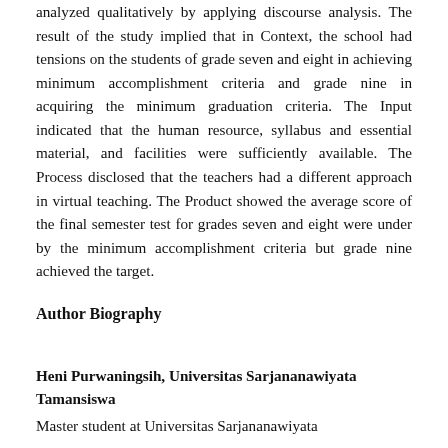analyzed qualitatively by applying discourse analysis. The result of the study implied that in Context, the school had tensions on the students of grade seven and eight in achieving minimum accomplishment criteria and grade nine in acquiring the minimum graduation criteria. The Input indicated that the human resource, syllabus and essential material, and facilities were sufficiently available. The Process disclosed that the teachers had a different approach in virtual teaching. The Product showed the average score of the final semester test for grades seven and eight were under by the minimum accomplishment criteria but grade nine achieved the target.
Author Biography
Heni Purwaningsih, Universitas Sarjananawiyata Tamansiswa
Master student at Universitas Sarjananawiyata